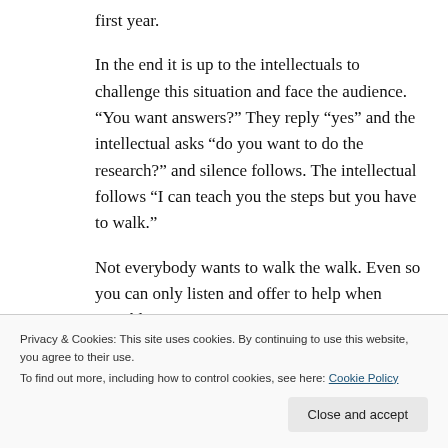first year.
In the end it is up to the intellectuals to challenge this situation and face the audience. “You want answers?” They reply “yes” and the intellectual asks “do you want to do the research?” and silence follows. The intellectual follows “I can teach you the steps but you have to walk.”
Not everybody wants to walk the walk. Even so you can only listen and offer to help when possible.
Privacy & Cookies: This site uses cookies. By continuing to use this website, you agree to their use.
To find out more, including how to control cookies, see here: Cookie Policy